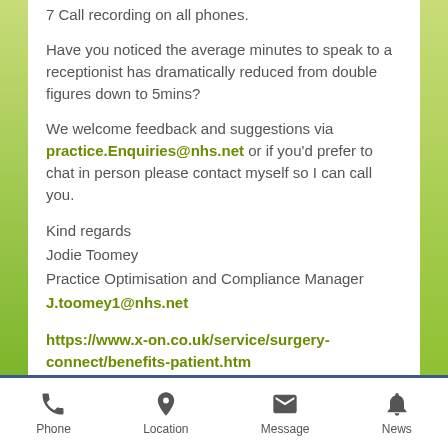7 Call recording on all phones.
Have you noticed the average minutes to speak to a receptionist has dramatically reduced from double figures down to 5mins?
We welcome feedback and suggestions via practice.Enquiries@nhs.net or if you'd prefer to chat in person please contact myself so I can call you.
Kind regards
Jodie Toomey
Practice Optimisation and Compliance Manager
J.toomey1@nhs.net
https://www.x-on.co.uk/service/surgery-connect/benefits-patient.htm
Phone  Location  Message  News